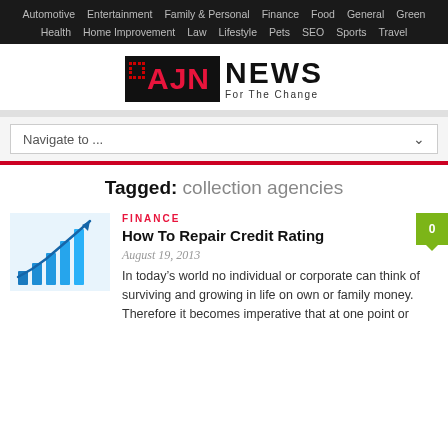Automotive | Entertainment | Family & Personal | Finance | Food | General | Green | Health | Home Improvement | Law | Lifestyle | Pets | SEO | Sports | Travel
[Figure (logo): AJN News - For The Change logo with black box and red AJN text, followed by black NEWS text and tagline]
Navigate to ...
Tagged: collection agencies
FINANCE
How To Repair Credit Rating
August 19, 2013
In today’s world no individual or corporate can think of surviving and growing in life on own or family money. Therefore it becomes imperative that at one point or